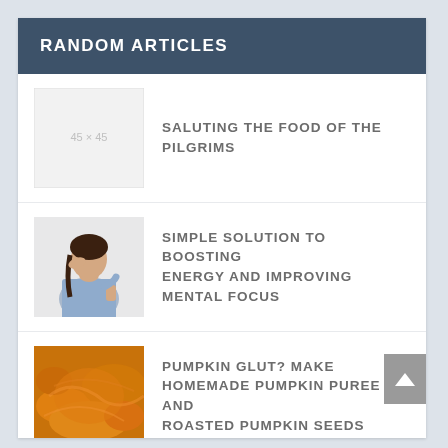RANDOM ARTICLES
[Figure (photo): Placeholder image (45×45 text on light gray background)]
SALUTING THE FOOD OF THE PILGRIMS
[Figure (photo): Woman in blue shirt holding hand to forehead and raising other hand in stop gesture]
SIMPLE SOLUTION TO BOOSTING ENERGY AND IMPROVING MENTAL FOCUS
[Figure (photo): Close-up of cooked orange/yellow pumpkin puree]
PUMPKIN GLUT? MAKE HOMEMADE PUMPKIN PUREE AND ROASTED PUMPKIN SEEDS